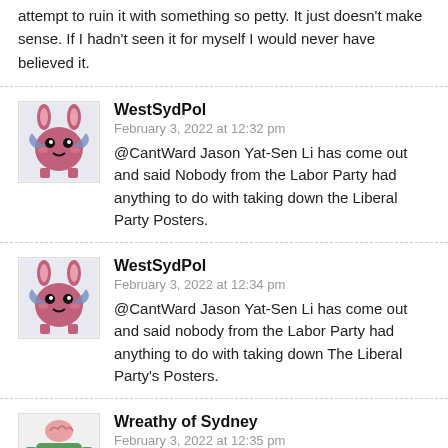attempt to ruin it with something so petty. It just doesn't make sense. If I hadn't seen it for myself I would never have believed it.
WestSydPol
February 3, 2022 at 12:32 pm
@CantWard Jason Yat-Sen Li has come out and said Nobody from the Labor Party had anything to do with taking down the Liberal Party Posters.
WestSydPol
February 3, 2022 at 12:34 pm
@CantWard Jason Yat-Sen Li has come out and said nobody from the Labor Party had anything to do with taking down The Liberal Party's Posters.
Wreathy of Sydney
February 3, 2022 at 12:35 pm